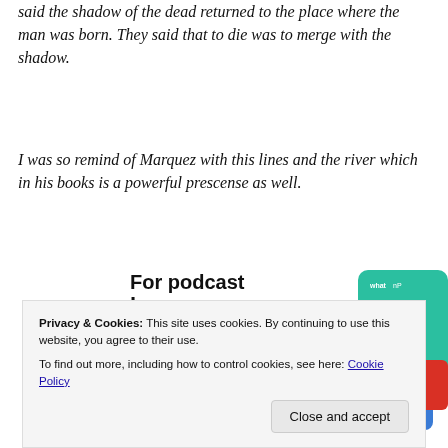said the shadow of the dead returned to the place where the man was born. They said that to die was to merge with the shadow.
I was so remind of Marquez with this lines and the river which in his books is a powerful prescense as well.
[Figure (screenshot): Advertisement banner for a podcast app showing bold text 'For podcast lovers.' with 'Download now' in red, and app card images including a '99% Invisible' podcast card on dark background with yellow square logo, and a green card partially visible.]
Privacy & Cookies: This site uses cookies. By continuing to use this website, you agree to their use.
To find out more, including how to control cookies, see here: Cookie Policy
Close and accept